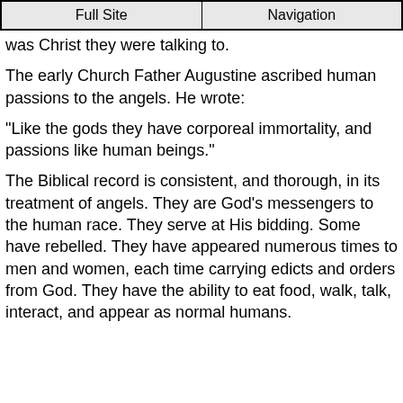Full Site | Navigation
was Christ they were talking to.
The early Church Father Augustine ascribed human passions to the angels. He wrote:
"Like the gods they have corporeal immortality, and passions like human beings."
The Biblical record is consistent, and thorough, in its treatment of angels. They are God's messengers to the human race. They serve at His bidding. Some have rebelled. They have appeared numerous times to men and women, each time carrying edicts and orders from God. They have the ability to eat food, walk, talk, interact, and appear as normal humans.